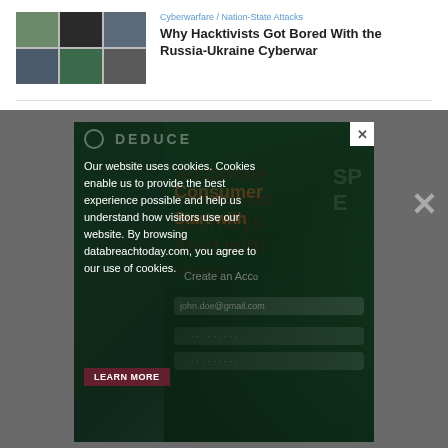[Figure (photo): Grid of 6 headshots of people in a 3x2 arrangement]
Cyberwarfare / Nation-State Attacks
Why Hacktivists Got Bored With the Russia-Ukraine Cyberwar
[Figure (photo): Advertisement overlay from Deduce showing a smartphone with a sign-up form. Cookie consent notice overlaid on the left reading: Our website uses cookies. Cookies enable us to provide the best experience possible and help us understand how visitors use our website. By browsing databreachtoday.com, you agree to our use of cookies.]
Our website uses cookies. Cookies enable us to provide the best experience possible and help us understand how visitors use our website. By browsing databreachtoday.com, you agree to our use of cookies.